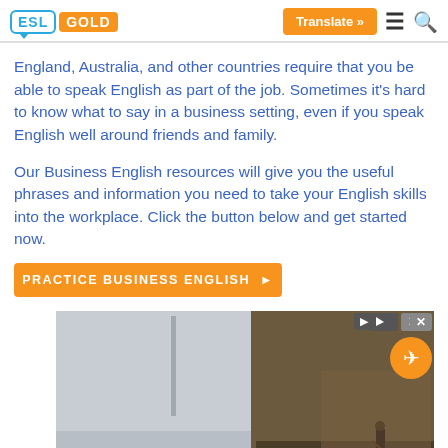ESL GOLD — Translate »
England, Australia, and other countries require that you be able to speak English as part of the job. Sometimes it's hard to know what to say in a business setting, even if you speak English well around friends and family.
Our Business English resources will give you the useful phrases and information you need to take your English skills into the workplace. Click the button below and get started now.
[Figure (screenshot): Orange CTA button partially visible reading 'PRACTICE BUSINESS ENGLISH »' and below it an advertisement banner showing a Venice gondola scene with a person rowing, with ad controls (play and close buttons) in the top right corner.]